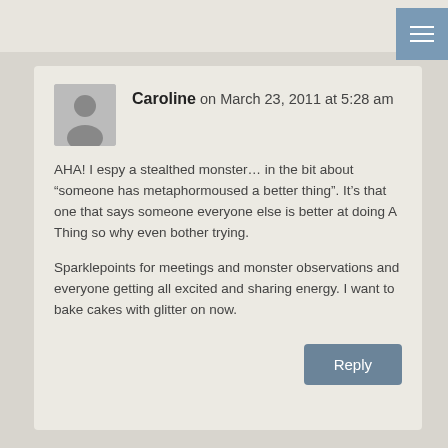Caroline on March 23, 2011 at 5:28 am
AHA! I espy a stealthed monster… in the bit about “someone has metaphormoused a better thing”. It’s that one that says someone everyone else is better at doing A Thing so why even bother trying.
Sparklepoints for meetings and monster observations and everyone getting all excited and sharing energy. I want to bake cakes with glitter on now.